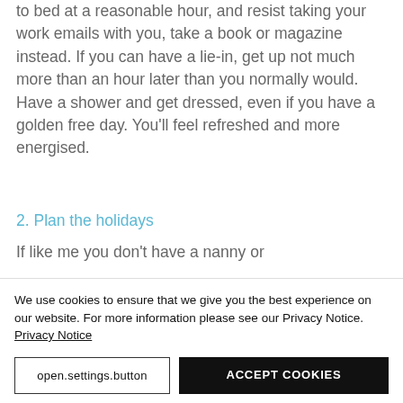to bed at a reasonable hour, and resist taking your work emails with you, take a book or magazine instead. If you can have a lie-in, get up not much more than an hour later than you normally would. Have a shower and get dressed, even if you have a golden free day. You'll feel refreshed and more energised.
2. Plan the holidays
If like me you don't have a nanny or
We use cookies to ensure that we give you the best experience on our website. For more information please see our Privacy Notice. Privacy Notice
open.settings.button
ACCEPT COOKIES